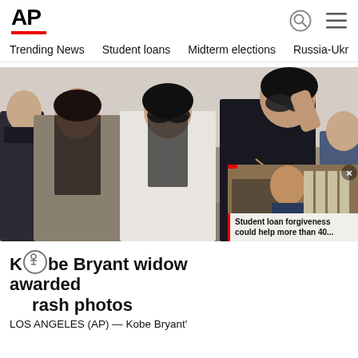AP
Trending News   Student loans   Midterm elections   Russia-Ukr
[Figure (photo): Three women wearing sunglasses walking outside a building; screenshot of a news website with main story about Kobe Bryant widow and a picture-in-picture video about student loan forgiveness]
Kobe Bryant widow awarded [for] crash photos
LOS ANGELES (AP) — Kobe Bryant'